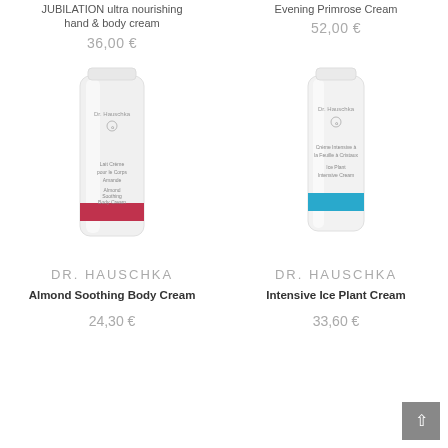JUBILATION ultra nourishing hand & body cream
36,00 €
Evening Primrose Cream
52,00 €
[Figure (photo): Dr. Hauschka Almond Soothing Body Cream tube with pink label stripe]
[Figure (photo): Dr. Hauschka Intensive Ice Plant Cream tube with blue label stripe]
DR. HAUSCHKA
Almond Soothing Body Cream
24,30 €
DR. HAUSCHKA
Intensive Ice Plant Cream
33,60 €